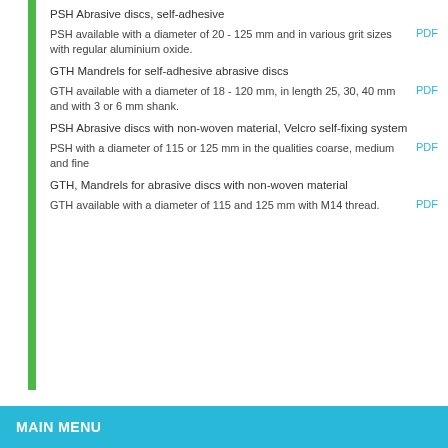PSH Abrasive discs, self-adhesive
PSH available with a diameter of 20 - 125 mm and in various grit sizes with regular aluminium oxide.
GTH Mandrels for self-adhesive abrasive discs
GTH available with a diameter of 18 - 120 mm, in length 25, 30, 40 mm and with 3 or 6 mm shank.
PSH Abrasive discs with non-woven material, Velcro self-fixing system
PSH with a diameter of 115 or 125 mm in the qualities coarse, medium and fine
GTH, Mandrels for abrasive discs with non-woven material
GTH available with a diameter of 115 and 125 mm with M14 thread.
MAIN MENU